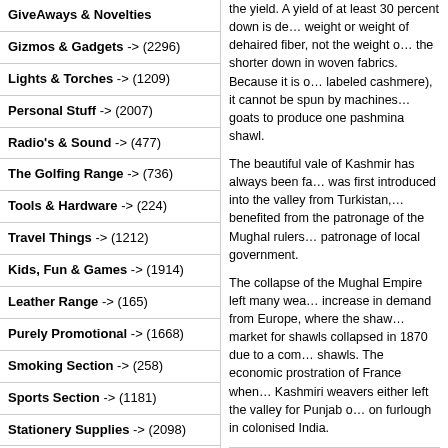GiveAways & Novelties
Gizmos & Gadgets -> (2296)
Lights & Torches -> (1209)
Personal Stuff -> (2007)
Radio's & Sound -> (477)
The Golfing Range -> (736)
Tools & Hardware -> (224)
Travel Things -> (1212)
Kids, Fun & Games -> (1914)
Leather Range -> (165)
Purely Promotional -> (1668)
Smoking Section -> (258)
Sports Section -> (1181)
Stationery Supplies -> (2098)
Sunglasses & Novelty -> (503)
Covid-19 Essential Products -> (187)
Promotional Display -> (418)
Purely African -> (1253)
Our Brands
the yield. A yield of at least 30 percent down is de… weight or weight of dehaired fiber, not the weight o… the shorter down in woven fabrics. Because it is o… labeled cashmere), it cannot be spun by machines… goats to produce one pashmina shawl.
The beautiful vale of Kashmir has always been fa… was first introduced into the valley from Turkistan,… benefited from the patronage of the Mughal rulers… patronage of local government.
The collapse of the Mughal Empire left many wea… increase in demand from Europe, where the shaw… market for shawls collapsed in 1870 due to a com… shawls. The economic prostration of France when… Kashmiri weavers either left the valley for Punjab… on furlough in colonised India.
Banned Ring Shawls
Coveted by the super-rich and fashionistas alike, s… Shahtoosh, which means 'king of wool' in Persian,… shawl made from it will pass through a wedding rin…
It makes cashmere feel like horse-hair and the de… lambs) like an old woollen jumper. Napoleon gave… maharajas gave them to their concubines and Chi… them.